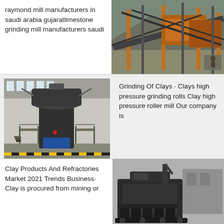raymond mill manufacturers in saudi arabia gujaratlimestone grinding mill manufacturers saudi
[Figure (photo): Industrial conveyor/screening equipment at a quarry or mining site, orange/rust colored metal structure with machinery]
[Figure (photo): Large industrial vertical mill machine inside a factory/warehouse building]
Grinding Of Clays · Clays high pressure grinding rolls Clay high pressure roller mill Our company is
Clay Products And Refractories Market 2021 Trends Business· Clay is procured from mining or
[Figure (photo): Industrial mining bucket/excavator equipment, dark colored machinery against gray background]